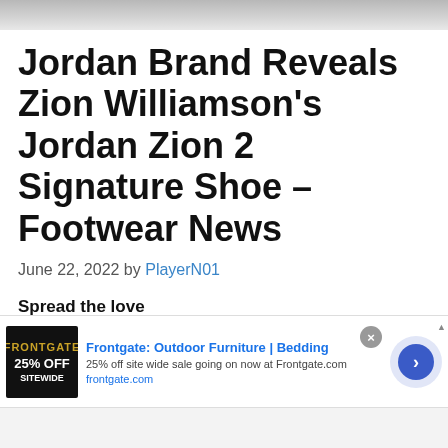[Figure (photo): Partial photo strip at top of page, cropped image showing grey tones]
Jordan Brand Reveals Zion Williamson's Jordan Zion 2 Signature Shoe – Footwear News
June 22, 2022 by PlayerN01
Spread the love
[Figure (infographic): Row of social media sharing icons: Facebook, Twitter, LinkedIn, Pinterest, Reddit, MeWe, Mix, WhatsApp, More]
[Figure (infographic): Advertisement banner: Frontgate Outdoor Furniture | Bedding. 25% off site wide sale going on now at Frontgate.com. frontgate.com]